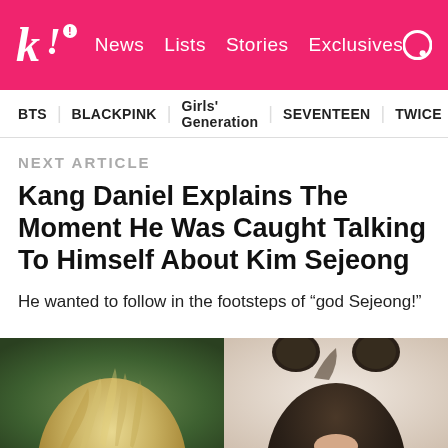k! News Lists Stories Exclusives
BTS  BLACKPINK  Girls' Generation  SEVENTEEN  TWICE
NEXT ARTICLE
Kang Daniel Explains The Moment He Was Caught Talking To Himself About Kim Sejeong
He wanted to follow in the footsteps of “god Sejeong!”
[Figure (photo): Split image showing back of two people's heads: left side shows person with light blonde messy hair, right side shows person with dark hair in two bun hairstyles]